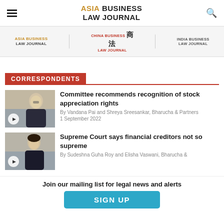ASIA BUSINESS LAW JOURNAL
[Figure (logo): Asia Business Law Journal logo navigation bar with hamburger menu and search icon]
[Figure (logo): Sub-navigation with Asia Business Law Journal, China Business Law Journal, and India Business Law Journal logos]
CORRESPONDENTS
[Figure (photo): Photo of Vandana Pai with play button overlay]
Committee recommends recognition of stock appreciation rights
By Vandana Pai and Shreya Sreesankar, Bharucha & Partners
1 September 2022
[Figure (photo): Photo of Sudeshna Guha Roy with play button overlay]
Supreme Court says financial creditors not so supreme
By Sudeshna Guha Roy and Elisha Vaswani, Bharucha &
Join our mailing list for legal news and alerts
SIGN UP